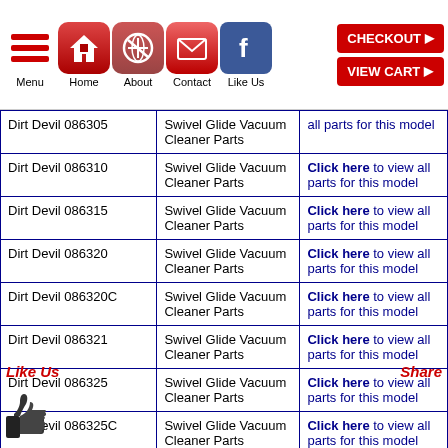Menu | Home | About | Contact | Like Us | CHECKOUT | VIEW CART
| Model | Description | Link |
| --- | --- | --- |
| Dirt Devil 086305 | Swivel Glide Vacuum Cleaner Parts | Click here to view all parts for this model |
| Dirt Devil 086310 | Swivel Glide Vacuum Cleaner Parts | Click here to view all parts for this model |
| Dirt Devil 086315 | Swivel Glide Vacuum Cleaner Parts | Click here to view all parts for this model |
| Dirt Devil 086320 | Swivel Glide Vacuum Cleaner Parts | Click here to view all parts for this model |
| Dirt Devil 086320C | Swivel Glide Vacuum Cleaner Parts | Click here to view all parts for this model |
| Dirt Devil 086321 | Swivel Glide Vacuum Cleaner Parts | Click here to view all parts for this model |
| Dirt Devil 086325 | Swivel Glide Vacuum Cleaner Parts | Click here to view all parts for this model |
| Dirt Devil 086325C | Swivel Glide Vacuum Cleaner Parts | Click here to view all parts for this model |